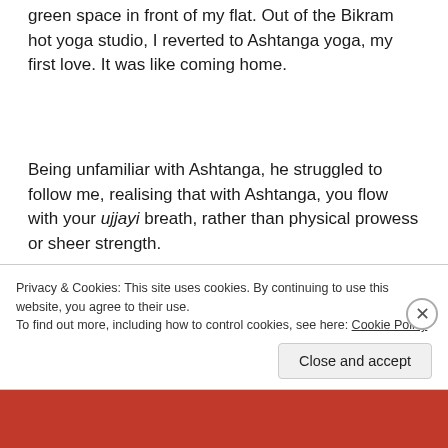green space in front of my flat. Out of the Bikram hot yoga studio, I reverted to Ashtanga yoga, my first love. It was like coming home.
Being unfamiliar with Ashtanga, he struggled to follow me, realising that with Ashtanga, you flow with your ujjayi breath, rather than physical prowess or sheer strength.
We lay down on our backs at the end of the practice, the winter sun on our faces, and I could sense a smile on his
Privacy & Cookies: This site uses cookies. By continuing to use this website, you agree to their use.
To find out more, including how to control cookies, see here: Cookie Policy
Close and accept